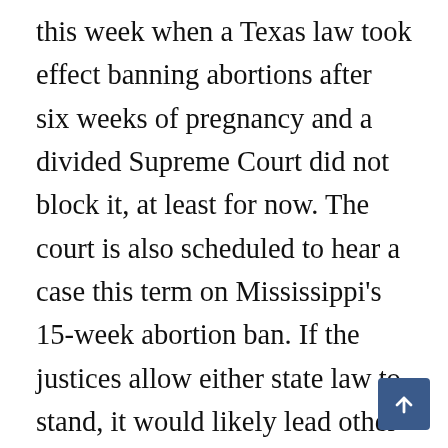this week when a Texas law took effect banning abortions after six weeks of pregnancy and a divided Supreme Court did not block it, at least for now. The court is also scheduled to hear a case this term on Mississippi's 15-week abortion ban. If the justices allow either state law to stand, it would likely lead other states to further restrict abortion, forcing patients in many conservative states across the South, Midwest and West to travel for services or seek out overseas options like Aid Access, according to Mary Ziegler, a Florida State University law professor who focuses on legal issues